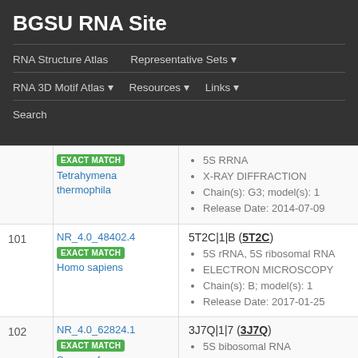BGSU RNA Site
RNA Structure Atlas | Representative Sets ▾ | RNA 3D Motif Atlas ▾ | Resources ▾ | Links ▾ | Search
| # | NR Set / Species | Structure / Details |
| --- | --- | --- |
|  | EXACT MATCH
Tetrahymena thermophila | 5S RRNA
X-RAY DIFFRACTION
Chain(s): G3; model(s): 1
Release Date: 2014-07-09 |
| 101 | NR_4.0_48402.4
EXACT MATCH
Homo sapiens | 5T2C|1|B (5T2C)
5S rRNA, 5S ribosomal RNA
ELECTRON MICROSCOPY
Chain(s): B; model(s): 1
Release Date: 2017-01-25 |
| 102 | NR_4.0_62824.1
EXACT MATCH
Sus scrofa | 3J7Q|1|7 (3J7Q)
5S bibosomal RNA
ELECTRON MICROSCOPY
Chain(s): 7; model(s): 1 |